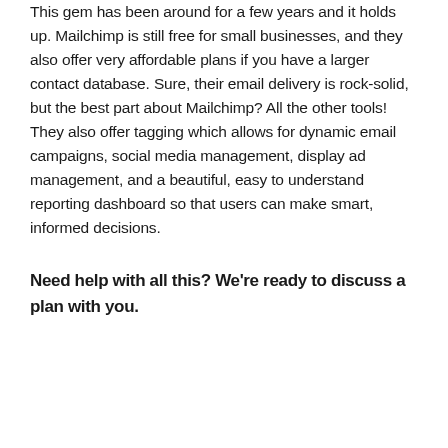This gem has been around for a few years and it holds up. Mailchimp is still free for small businesses, and they also offer very affordable plans if you have a larger contact database. Sure, their email delivery is rock-solid, but the best part about Mailchimp? All the other tools! They also offer tagging which allows for dynamic email campaigns, social media management, display ad management, and a beautiful, easy to understand reporting dashboard so that users can make smart, informed decisions.
Need help with all this? We're ready to discuss a plan with you.